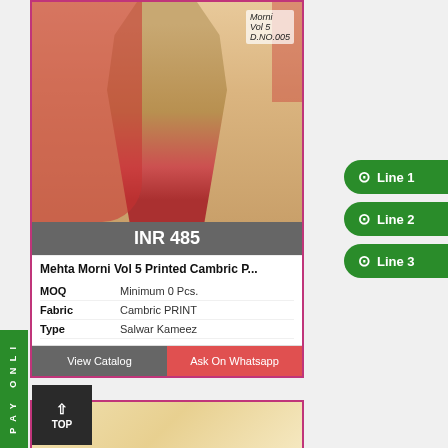[Figure (photo): Fashion product photo showing a woman wearing a beige/golden Salwar Kameez suit with red printed dupatta and red printed Patiala pants. Catalog text 'Morni Vol 5 D.NO.005' visible in top right.]
INR 485
Mehta Morni Vol 5 Printed Cambric P...
| MOQ | Minimum 0 Pcs. |
| Fabric | Cambric PRINT |
| Type | Salwar Kameez |
View Catalog
Ask On Whatsapp
Line 1
Line 2
Line 3
PAY ONLI
[Figure (photo): Partial view of a second product card showing a cream/beige decorative background.]